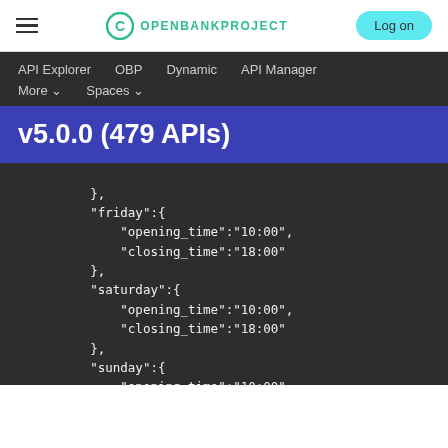OpenBankProject — Log on
API Explorer   OBP   Dynamic   API Manager   More   Spaces
v5.0.0 (479 APIs)
},
"friday":{
    "opening_time":"10:00",
    "closing_time":"18:00"
},
"saturday":{
    "opening_time":"10:00",
    "closing_time":"18:00"
},
"sunday":{
    "opening_time":"10:00",